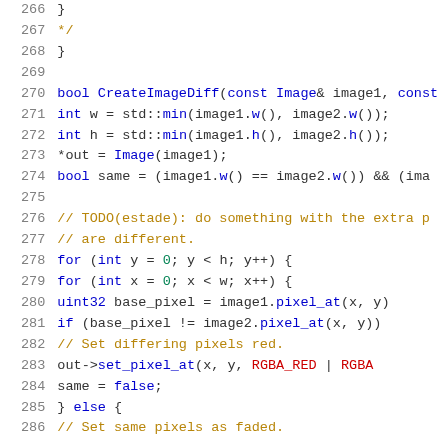[Figure (screenshot): Source code listing showing C++ function CreateImageDiff with syntax highlighting. Line numbers 266-286 are visible. Code includes function definition, loops, pixel comparison logic, and comments.]